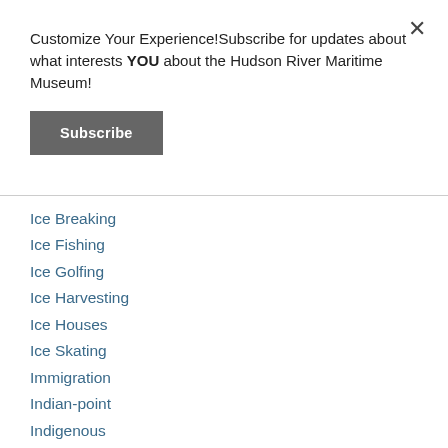Customize Your Experience!Subscribe for updates about what interests YOU about the Hudson River Maritime Museum!
Subscribe
Ice Breaking
Ice Fishing
Ice Golfing
Ice Harvesting
Ice Houses
Ice Skating
Immigration
Indian-point
Indigenous
Instruments
Iona-island
Island-dock
Italians